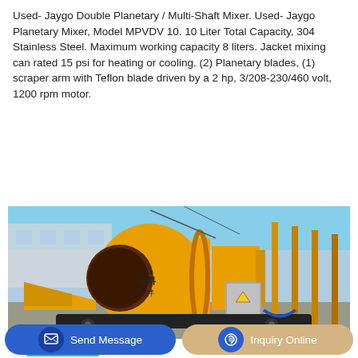Used- Jaygo Double Planetary / Multi-Shaft Mixer. Used- Jaygo Planetary Mixer, Model MPVDV 10. 10 Liter Total Capacity, 304 Stainless Steel. Maximum working capacity 8 liters. Jacket mixing can rated 15 psi for heating or cooling. (2) Planetary blades, (1) scraper arm with Teflon blade driven by a 2 hp, 3/208-230/460 volt, 1200 rpm motor.
[Figure (other): Button labeled 'Learn More' with cyan/teal background]
[Figure (photo): Photograph of a large yellow industrial concrete mixer / double planetary mixer machine outdoors, with Chinese characters '出料' on the drum, an electrical panel with hazard warning sign, set against a light blue sky background.]
[Figure (other): Bottom navigation bar with two buttons: 'Send Message' (blue) and 'Inquiry Online' (tan/gold)]